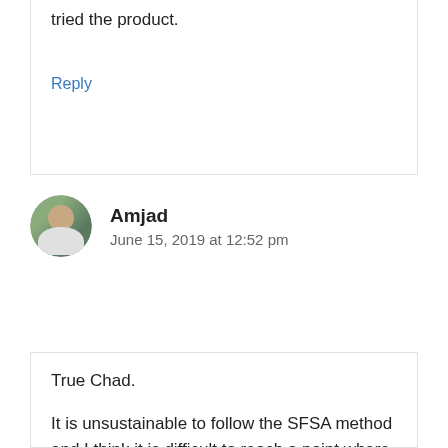tried the product.
Reply
Amjad
June 15, 2019 at 12:52 pm
True Chad.
It is unsustainable to follow the SFSA method and I think it is difficult to reach a point where you make passive income with it. You need to hustle on daily basis for a longer